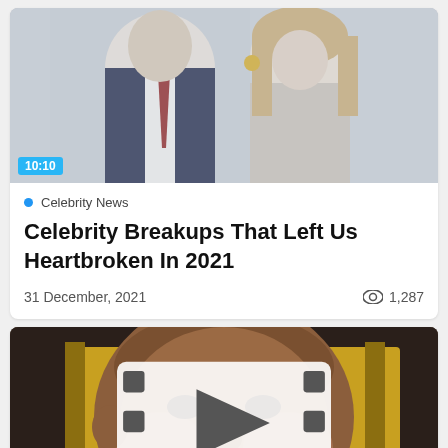[Figure (photo): Couple posing at an event — man in dark suit with red tie, woman in dress with gold earrings and long brown hair. Duration badge '10:10' in cyan at bottom-left.]
Celebrity News
Celebrity Breakups That Left Us Heartbroken In 2021
31 December, 2021
1,287
[Figure (photo): Close-up of a smiling bald man (Dwayne Johnson) at a movie premiere with golden set decorations. A film/play icon is centered over the image.]